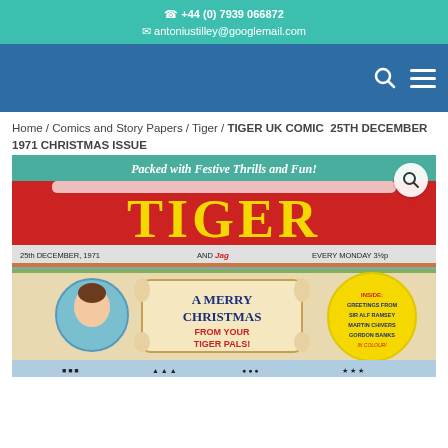☎ +44 (0) 7939 066872
✉ antoniustilley@googlemail.com
Home / Comics and Story Papers / Tiger / TIGER UK COMIC  25TH DECEMBER 1971 CHRISTMAS ISSUE
[Figure (photo): Cover of Tiger UK Comic Christmas issue dated 25th December 1971. The cover reads 'Packed with Festive Thrills and Fun!' at the top. Large 'TIGER' title in yellow snow-capped letters on a red background. Below: AND JAC, EVERY MONDAY 3½p. A scroll reads 'A MERRY CHRISTMAS FROM YOUR TIGER PALS!' with a circular portrait of a man. Yellow circle on right reads 'INSIDE: GREETINGS FROM SIR ALF RAMSEY, MARTIN CHIVERS, GORDON BANKS IN COLOUR!' Bottom shows illustrated characters.]